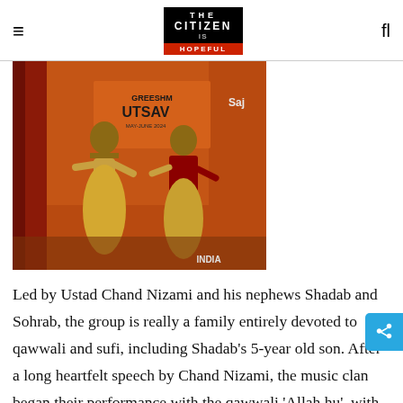THE CITIZEN IS HOPEFUL
[Figure (photo): Two classical Indian dancers performing on stage in front of a backdrop reading 'GREESHM UTSAV'. The male dancer is shirtless in golden dhoti, the female dancer is in a red and gold sari. The stage has warm orange-red lighting with 'INDIA' text visible at the bottom right.]
Led by Ustad Chand Nizami and his nephews Shadab and Sohrab, the group is really a family entirely devoted to qawwali and sufi, including Shadab's 5-year old son. After a long heartfelt speech by Chand Nizami, the music clan began their performance with the qawwali 'Allah hu', with the audience ecastatic.